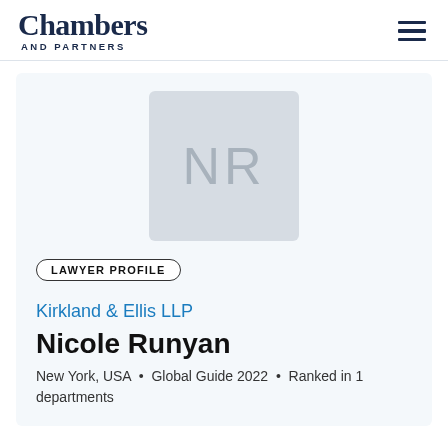Chambers AND PARTNERS
[Figure (illustration): Avatar placeholder with initials NR on a light grey rounded square background]
LAWYER PROFILE
Kirkland & Ellis LLP
Nicole Runyan
New York, USA • Global Guide 2022 • Ranked in 1 departments